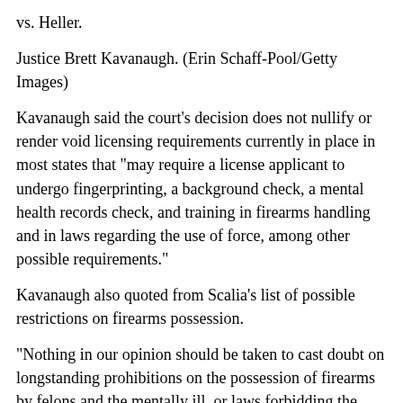vs. Heller.
Justice Brett Kavanaugh. (Erin Schaff-Pool/Getty Images)
Kavanaugh said the court's decision does not nullify or render void licensing requirements currently in place in most states that "may require a license applicant to undergo fingerprinting, a background check, a mental health records check, and training in firearms handling and in laws regarding the use of force, among other possible requirements."
Kavanaugh also quoted from Scalia's list of possible restrictions on firearms possession.
"Nothing in our opinion should be taken to cast doubt on longstanding prohibitions on the possession of firearms by felons and the mentally ill, or laws forbidding the carrying of firearms in sensitive places such as schools and government buildings, or laws imposing conditions and qualifications on the commercial sale of arms," Kavanaugh quoted Scalia as writing. He included Scalia's affirmation of regulations and restrictions on licenses as approved by